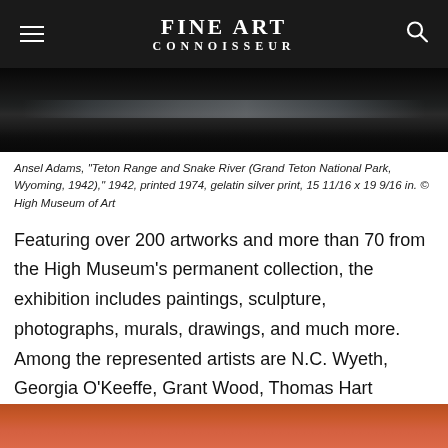FINE ART CONNOISSEUR
[Figure (photo): Black and white landscape photo - Teton Range and Snake River, dark tones, partial view]
Ansel Adams, "Teton Range and Snake River (Grand Teton National Park, Wyoming, 1942)," 1942, printed 1974, gelatin silver print, 15 11/16 x 19 9/16 in. © High Museum of Art
Featuring over 200 artworks and more than 70 from the High Museum's permanent collection, the exhibition includes paintings, sculpture, photographs, murals, drawings, and much more. Among the represented artists are N.C. Wyeth, Georgia O'Keeffe, Grant Wood, Thomas Hart Benton, Jacob Lawrence, Grandma Moses, Hale Woodruff, Bill Traylor, Ansel Adams, Dorothea Lange, Alfred Stieglitz, and Peter Sekaer.
[Figure (photo): Partial view of colorful artwork at the bottom of the page]